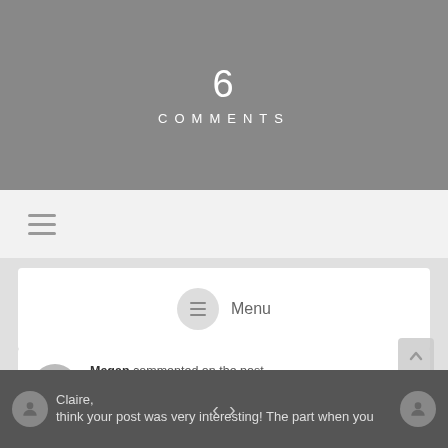6 COMMENTS
[Figure (screenshot): Mobile website header banner showing '6 COMMENTS' in white text on grey background]
≡ Menu
Megan commented on the post, The Impact of COVID-19 on Individuals, Families, and Businesses · A YEAR AGO
Claire, think your post was very interesting! The part when you